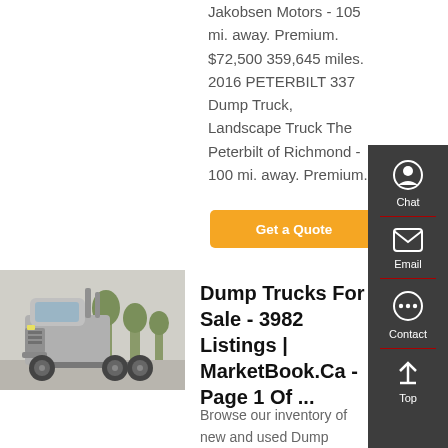Jakobsen Motors - 105 mi. away. Premium. $72,500 359,645 miles. 2016 PETERBILT 337 Dump Truck, Landscape Truck The Peterbilt of Richmond - 100 mi. away. Premium.
Get a Quote
[Figure (photo): Silver semi-truck / tractor unit parked outdoors with trees in background]
Dump Trucks For Sale - 3982 Listings | MarketBook.Ca - Page 1 Of ...
Browse our inventory of new and used Dump Trucks For Sale near